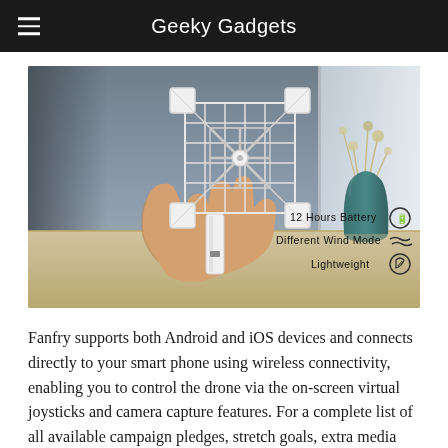Geeky Gadgets
[Figure (photo): A hand holding a white lattice-style portable fan device against a room background. Text overlays on the right show: 12 Hours Battery, Different Wind Mode, Lightweight with corresponding icons.]
Fanfry supports both Android and iOS devices and connects directly to your smart phone using wireless connectivity, enabling you to control the drone via the on-screen virtual joysticks and camera capture features. For a complete list of all available campaign pledges, stretch goals, extra media and more features,